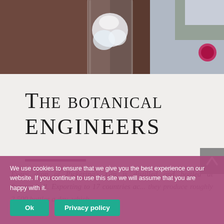[Figure (photo): Photo of a glass with ice/gin and a bottle on the right side, with blurred background]
The botanical engineers
Every drop of Pickering's Gin is distilled and bottled at Summerhall. Exporting to 17 countries ac... they produce roughly 2,500 bottles a day, which...
We use cookies to ensure that we give you the best experience on our website. If you continue to use this site we will assume that you are happy with it. Ok  Privacy policy